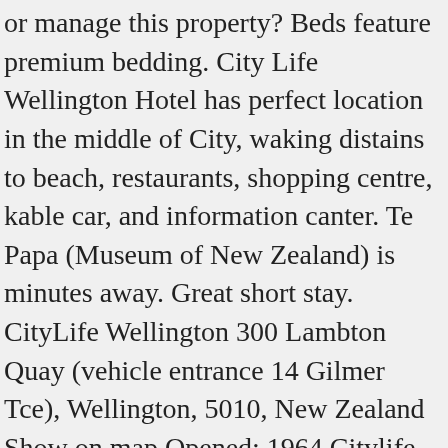or manage this property? Beds feature premium bedding. City Life Wellington Hotel has perfect location in the middle of City, waking distains to beach, restaurants, shopping centre, kable car, and information canter. Te Papa (Museum of New Zealand) is minutes away. Great short stay. CityLife Wellington 300 Lambton Quay (vehicle entrance 14 Gilmer Tce), Wellington, 5010, New Zealand Show on map Opened: 1964 Citylife Wellington Hotel is a popular choice amongst travelers in Wellington, whether exploring or just passing through. We look forward to welcoming you back to CityLife Wellington in the near future. Thank you also for recognising the team for their helpfulness, friendliness and great service. Regards Oytun Cevik Hotel Manager. Thank you also for recognising the team for their helpfulness, friendliness and great service. Is CityLife Wellington located near the city centre? This is the version of our website addressed